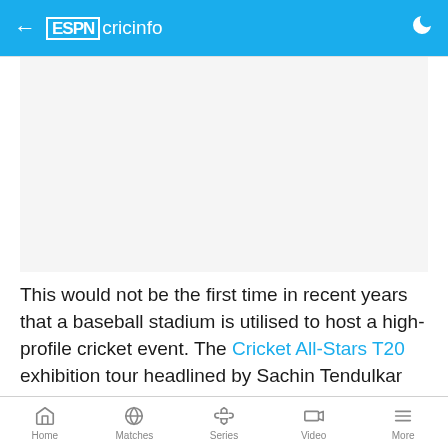ESPNcricinfo
[Figure (photo): White/light gray image placeholder area]
This would not be the first time in recent years that a baseball stadium is utilised to host a high-profile cricket event. The Cricket All-Stars T20 exhibition tour headlined by Sachin Tendulkar and Shane Warne
Home  Matches  Series  Video  More